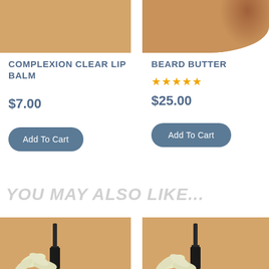[Figure (photo): Top portion of a product photo with warm tan/beige background — Complexion Clear Lip Balm]
[Figure (photo): Top portion of a product photo with warm tan background and partial round shape visible — Beard Butter]
COMPLEXION CLEAR LIP BALM
BEARD BUTTER
★★★★★
$7.00
$25.00
Add To Cart
Add To Cart
YOU MAY ALSO LIKE...
[Figure (photo): Bottom product photo with tan background, dropper bottle and white flower — oil product]
[Figure (photo): Bottom product photo with tan background, dropper bottle and white flower — oil product]